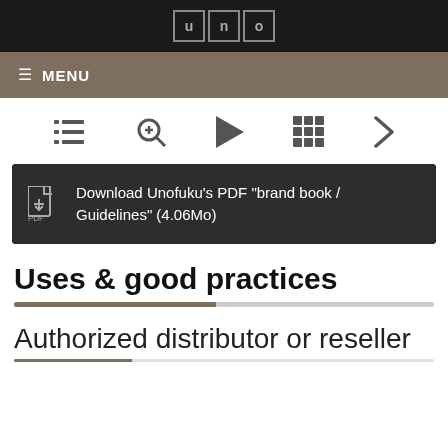uno (logo)
≡ MENU
[Figure (screenshot): Toolbar with icons: list view, zoom/search, play, grid, and next arrow]
Download Unofuku's PDF "brand book / Guidelines" (4.06Mo)
Uses & good practices
Authorized distributor or reseller